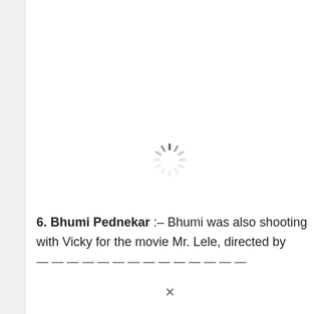[Figure (other): Loading spinner icon (circular spinner with radiating dashes in gray) indicating image is loading]
6. Bhumi Pednekar :– Bhumi was also shooting with Vicky for the movie Mr. Lele, directed by [text truncated]